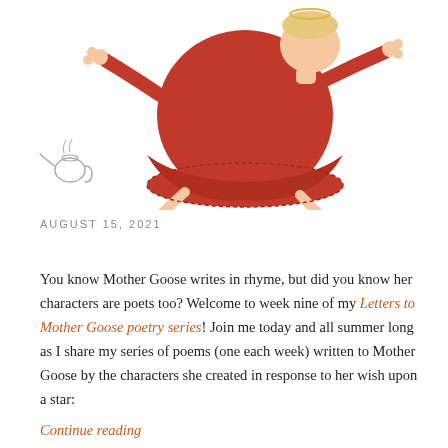[Figure (illustration): Illustrated figure of a plump character in a red dress and red round body, flying or leaping, with arms outstretched and feet bare, against a white background. A small teapot is visible at the lower left.]
AUGUST 15, 2021
You know Mother Goose writes in rhyme, but did you know her characters are poets too? Welcome to week nine of my Letters to Mother Goose poetry series! Join me today and all summer long as I share my series of poems (one each week) written to Mother Goose by the characters she created in response to her wish upon a star:
Continue reading